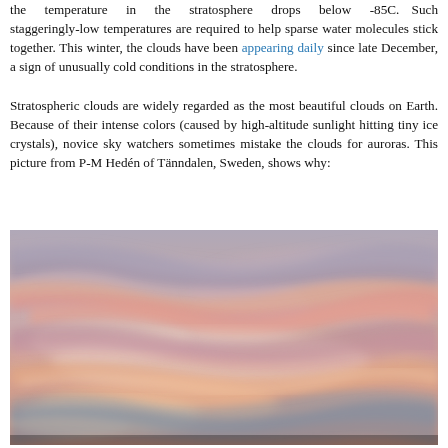the temperature in the stratosphere drops below -85C. Such staggeringly-low temperatures are required to help sparse water molecules stick together. This winter, the clouds have been appearing daily since late December, a sign of unusually cold conditions in the stratosphere.
Stratospheric clouds are widely regarded as the most beautiful clouds on Earth. Because of their intense colors (caused by high-altitude sunlight hitting tiny ice crystals), novice sky watchers sometimes mistake the clouds for auroras. This picture from P-M Hedén of Tänndalen, Sweden, shows why:
[Figure (photo): Photograph of colorful stratospheric polar stratospheric clouds (nacreous clouds) over a landscape, taken by P-M Hedén of Tänndalen, Sweden. The sky shows vivid pink, orange, purple, and grey sweeping cloud formations.]